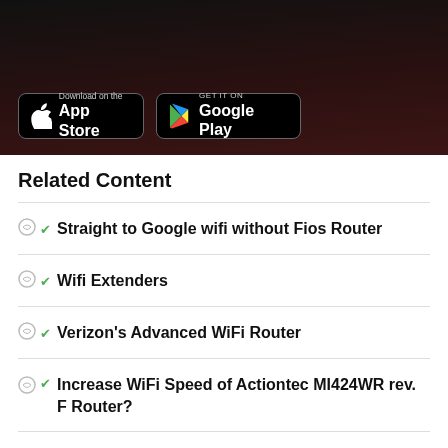[Figure (screenshot): App Store and Google Play download buttons on dark background]
Related Content
Straight to Google wifi without Fios Router
Wifi Extenders
Verizon's Advanced WiFi Router
Increase WiFi Speed of Actiontec MI424WR rev. F Router?
Use router without WiFi as a Switch connected to